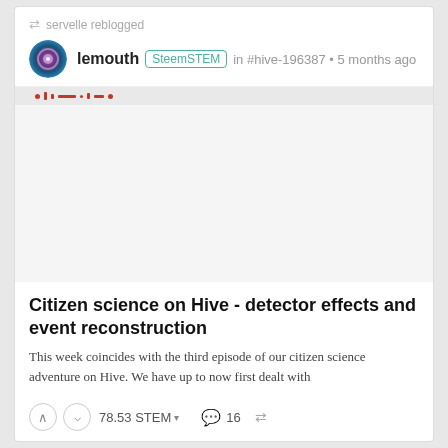servelle reblogged
lemouth SteemSTEM in #hive-196387 • 5 months ago
[Figure (photo): Partially visible header image of a scientific post, showing a strip with red dots and marks on a light gray background]
Citizen science on Hive - detector effects and event reconstruction
This week coincides with the third episode of our citizen science adventure on Hive. We have up to now first dealt with
78.53 STEM ▾   16